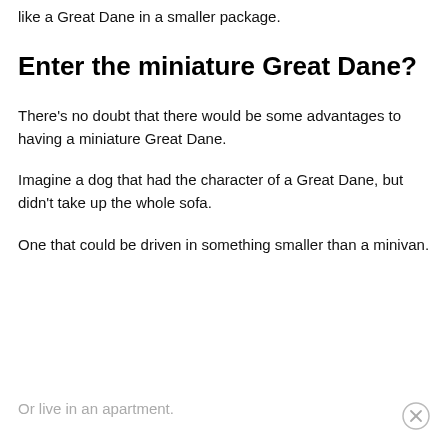like a Great Dane in a smaller package.
Enter the miniature Great Dane?
There’s no doubt that there would be some advantages to having a miniature Great Dane.
Imagine a dog that had the character of a Great Dane, but didn’t take up the whole sofa.
One that could be driven in something smaller than a minivan.
Or live in an apartment.